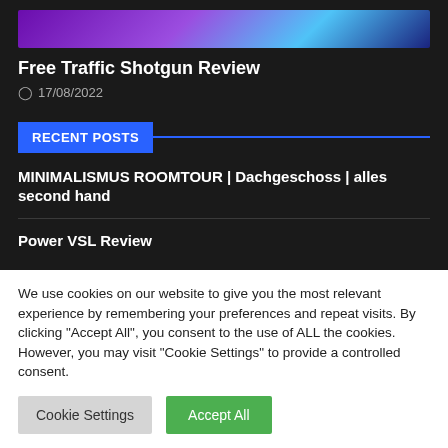[Figure (screenshot): Partial thumbnail image strip showing purple gradient and dark blue tones]
Free Traffic Shotgun Review
17/08/2022
RECENT POSTS
MINIMALISMUS ROOMTOUR | Dachgeschoss | alles second hand
Power VSL Review
We use cookies on our website to give you the most relevant experience by remembering your preferences and repeat visits. By clicking "Accept All", you consent to the use of ALL the cookies. However, you may visit "Cookie Settings" to provide a controlled consent.